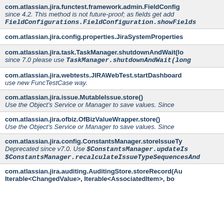com.atlassian.jira.functest.framework.admin.FieldConfig
since 4.2. This method is not future-proof; as fields get added, FieldConfigurations.FieldConfiguration.showFields
com.atlassian.jira.config.properties.JiraSystemProperties
com.atlassian.jira.task.TaskManager.shutdownAndWait(lo
since 7.0 please use TaskManager.shutdownAndWait(long
com.atlassian.jira.webtests.JIRAWebTest.startDashboard
use new FuncTestCase way.
com.atlassian.jira.issue.MutableIssue.store()
Use the Object's Service or Manager to save values. Since
com.atlassian.jira.ofbiz.OfBizValueWrapper.store()
Use the Object's Service or Manager to save values. Since
com.atlassian.jira.config.ConstantsManager.storeIssueTy
Deprecated since v7.0. Use $ConstantsManager.updateIs $ConstantsManager.recalculateIssueTypeSequencesAnd
com.atlassian.jira.auditing.AuditingStore.storeRecord(Au Iterable<ChangedValue>, Iterable<AssociatedItem>, bo